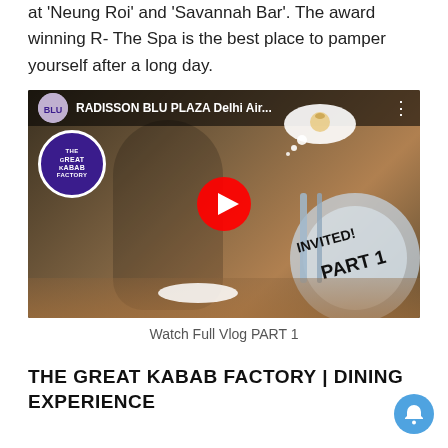at 'Neung Roi' and 'Savannah Bar'. The award winning R- The Spa is the best place to pamper yourself after a long day.
[Figure (screenshot): YouTube video thumbnail for 'RADISSON BLU PLAZA Delhi Air...' featuring a woman dining at The Great Kabab Factory, with a play button, INVITED! PART 1 overlay, and The Great Kabab Factory logo badge.]
Watch Full Vlog PART 1
THE GREAT KABAB FACTORY | DINING EXPERIENCE